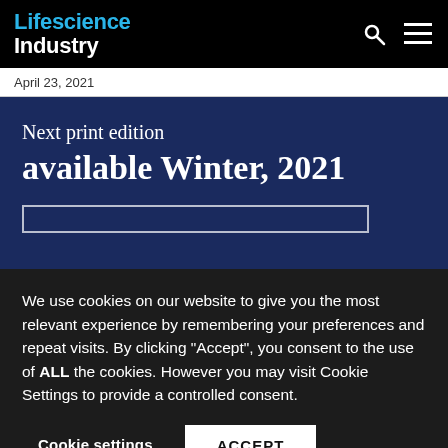Lifescience Industry
April 23, 2021
Next print edition available Winter, 2021
We use cookies on our website to give you the most relevant experience by remembering your preferences and repeat visits. By clicking “Accept”, you consent to the use of ALL the cookies. However you may visit Cookie Settings to provide a controlled consent.
Cookie settings   ACCEPT